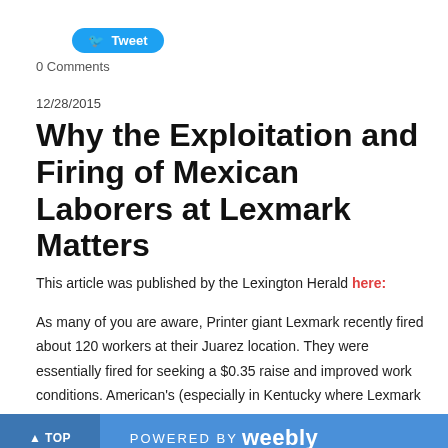[Figure (other): Tweet button with Twitter bird icon]
0 Comments
12/28/2015
Why the Exploitation and Firing of Mexican Laborers at Lexmark Matters
This article was published by the Lexington Herald here:
As many of you are aware, Printer giant Lexmark recently fired about 120 workers at their Juarez location.  They were essentially fired for seeking a $0.35 raise and improved work conditions. American's (especially in Kentucky where Lexmark is headquartered) who are criticizing Mexican laborers for
POWERED BY weebly